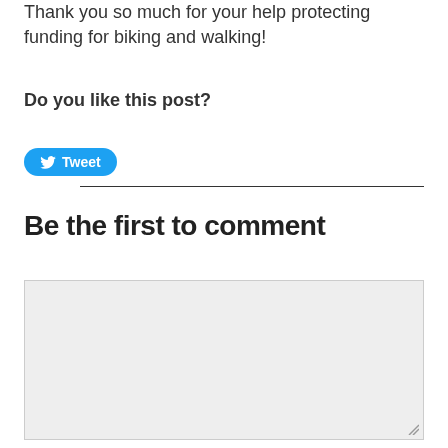Thank you so much for your help protecting funding for biking and walking!
Do you like this post?
[Figure (other): Tweet button with Twitter bird icon]
Be the first to comment
[Figure (other): Empty comment text area input box with resize handle]